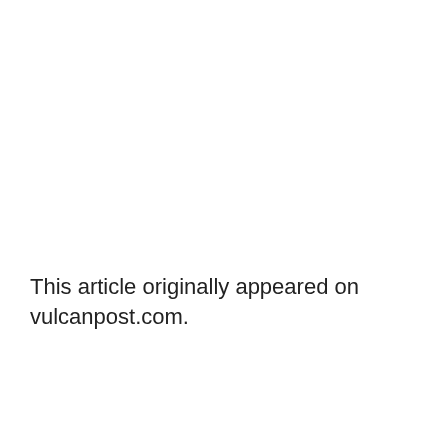This article originally appeared on vulcanpost.com.